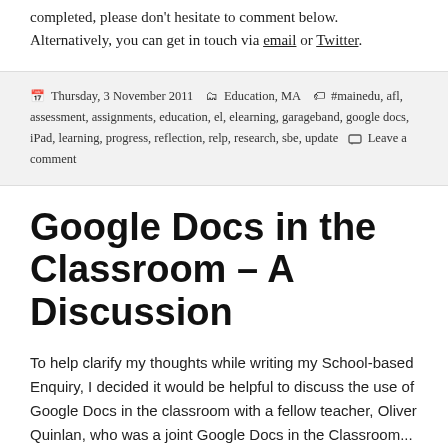completed, please don't hesitate to comment below. Alternatively, you can get in touch via email or Twitter.
Thursday, 3 November 2011  Education, MA  #mainedu, afl, assessment, assignments, education, el, elearning, garageband, google docs, iPad, learning, progress, reflection, relp, research, sbe, update  Leave a comment
Google Docs in the Classroom – A Discussion
To help clarify my thoughts while writing my School-based Enquiry, I decided it would be helpful to discuss the use of Google Docs in the classroom with a fellow teacher, Oliver Quinlan, who was a joint Google Docs in the Classroom...